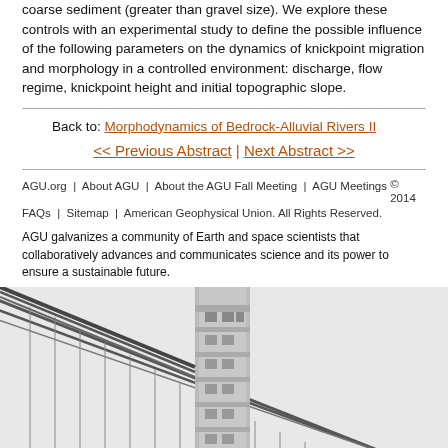coarse sediment (greater than gravel size). We explore these controls with an experimental study to define the possible influence of the following parameters on the dynamics of knickpoint migration and morphology in a controlled environment: discharge, flow regime, knickpoint height and initial topographic slope.
Back to: Morphodynamics of Bedrock-Alluvial Rivers II
<< Previous Abstract | Next Abstract >>
AGU.org | About AGU | About the AGU Fall Meeting | AGU Meetings FAQs | Sitemap | © 2014 American Geophysical Union. All Rights Reserved.
AGU galvanizes a community of Earth and space scientists that collaboratively advances and communicates science and its power to ensure a sustainable future.
[Figure (illustration): Partial illustration of the Golden Gate Bridge tower and cables in black and white, plus a partial view of another structure at right.]